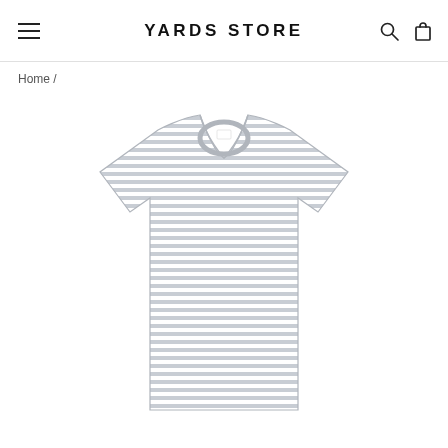YARDS STORE
Home /
[Figure (photo): A grey and white horizontally striped crew-neck short-sleeve t-shirt displayed flat on a white background.]